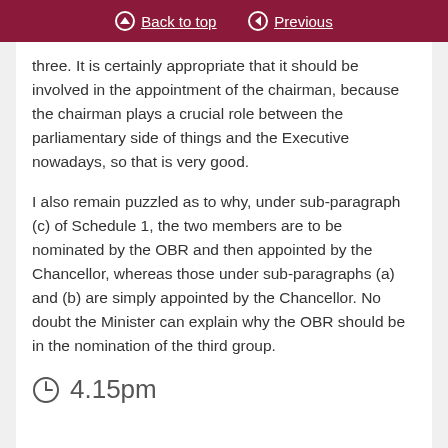Back to top | Previous
three. It is certainly appropriate that it should be involved in the appointment of the chairman, because the chairman plays a crucial role between the parliamentary side of things and the Executive nowadays, so that is very good.
I also remain puzzled as to why, under sub-paragraph (c) of Schedule 1, the two members are to be nominated by the OBR and then appointed by the Chancellor, whereas those under sub-paragraphs (a) and (b) are simply appointed by the Chancellor. No doubt the Minister can explain why the OBR should be in the nomination of the third group.
4.15pm